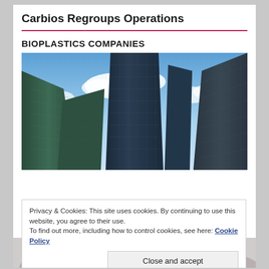Carbios Regroups Operations
BIOPLASTICS COMPANIES
[Figure (photo): Upward view of tall glass skyscraper buildings against a blue sky with clouds]
Privacy & Cookies: This site uses cookies. By continuing to use this website, you agree to their use.
To find out more, including how to control cookies, see here: Cookie Policy
Close and accept
[Figure (photo): Black and white photo of two hands holding purple puzzle pieces together]